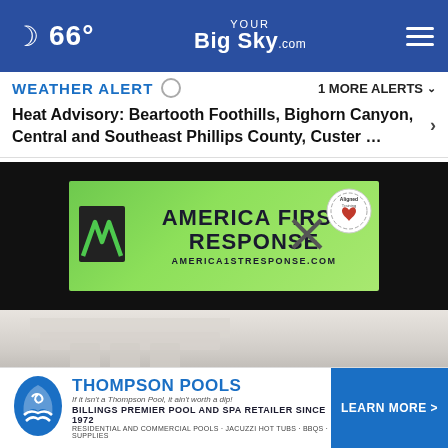66° YourBigSky.com
WEATHER ALERT  1 MORE ALERTS
Heat Advisory: Beartooth Foothills, Bighorn Canyon, Central and Southeast Phillips County, Custer …
[Figure (photo): Advertisement banner for America First Response (america1stresponse.com) with green background, stylized M logo, and American Heart Association Aligned Training Site badge]
[Figure (photo): Blurred photo of a courthouse with Greek columns and protest/rally signs including a yellow and green 'KEEP' sign]
[Figure (photo): Advertisement banner for Thompson Pools - Billings Premier Pool and Spa Retailer Since 1972. Residential and Commercial Pools, Jacuzzi Hot Tubs, BBQs, Supplies. Learn More button.]